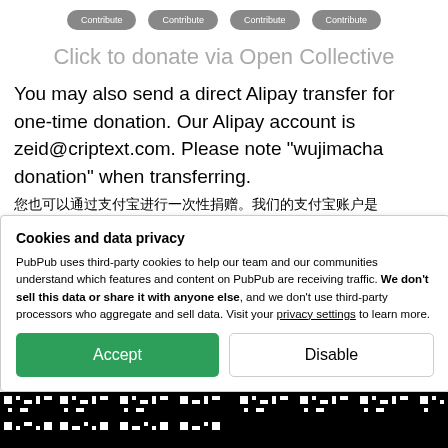[Figure (other): Four dark rounded rectangle 'Contribute' buttons in a row at the top of the page]
Click to donate via Open Collective
You may also send a direct Alipay transfer for one-time donation. Our Alipay account is zeid@criptext.com. Please note "wujimacha donation" when transferring. 您也可以通过支付宝进行一次性捐赠。我们的支付宝账户是 zeid@criptext.com。请在转账时备注 wujimahca 捐赠
去付宝扫一扫　向我付款
Cookies and data privacy
PubPub uses third-party cookies to help our team and our communities understand which features and content on PubPub are receiving traffic. We don't sell this data or share it with anyone else, and we don't use third-party processors who aggregate and sell data. Visit your privacy settings to learn more.
[Figure (other): QR code strip at the bottom of the page]